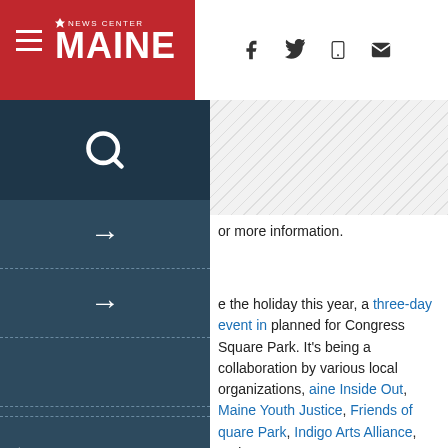NEWS CENTER MAINE
or more information.
e the holiday this year, a three-day event in planned for Congress Square Park. It's being a collaboration by various local organizations, aine Inside Out, Maine Youth Justice, Friends of quare Park, Indigo Arts Alliance, and more.
celebration follows a similar event that was held ich event organizer and founder Athena Lynch